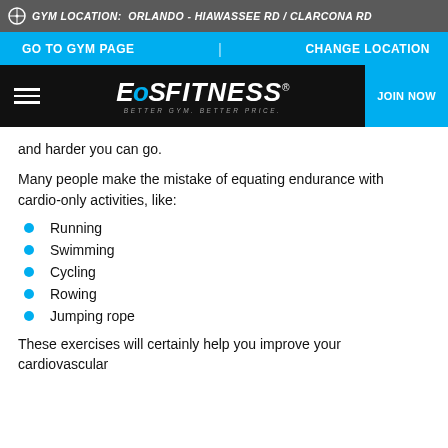GYM LOCATION: ORLANDO - HIAWASSEE RD / CLARCONA RD
GO TO GYM PAGE | CHANGE LOCATION
[Figure (logo): EoS Fitness logo with tagline 'BETTER GYM. BETTER PRICE.' on black header bar with hamburger menu and JOIN NOW button]
and harder you can go.
Many people make the mistake of equating endurance with cardio-only activities, like:
Running
Swimming
Cycling
Rowing
Jumping rope
These exercises will certainly help you improve your cardiovascular